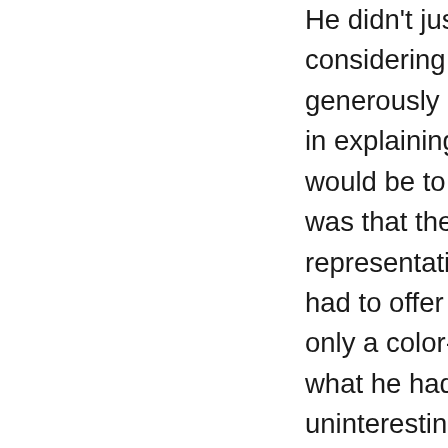He didn't just try to talk me out of considering, say, Tarkett; he generously invested five full minutes in explaining precisely how difficult it would be to order, how unsure he was that the samples he had were representative of what the company had to offer these days, and how only a color-blind idiot would find what he had in stock neither ugly nor uninteresting. (He had a point there.) Then, for the coup de grace, he told a highly unsavory anecdote about how his former Tarkett representative had been summarily fired so, he claimed, her employers would not have to pay her...